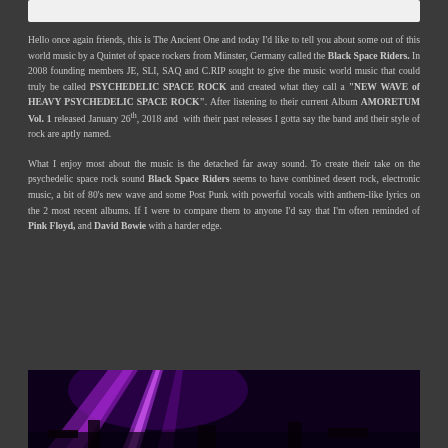[Figure (other): Light grey/white horizontal bar at top of page]
Hello once again friends, this is The Ancient One and today I'd like to tell you about some out of this world music by a Quintet of space rockers from Münster, Germany called the Black Space Riders. In 2008 founding members JE, SLI, SAQ and C.RIP sought to give the music world music that could truly be called PSYCHEDELIC SPACE ROCK and created what they call a "NEW WAVE of HEAVY PSYCHEDELIC SPACE ROCK". After listening to their current Album AMORETUM Vol. 1 released January 26th, 2018 and with their past releases I gotta say the band and their style of rock are aptly named.
What I enjoy most about the music is the detached far away sound. To create their take on the psychedelic space rock sound Black Space Riders seems to have combined desert rock, electronic music, a bit of 80's new wave and some Post Punk with powerful vocals with anthem-like lyrics on the 2 most recent albums. If I were to compare them to anyone I'd say that I'm often reminded of Pink Floyd, and David Bowie with a harder edge.
[Figure (photo): Concert photo with purple/violet stage lighting beams against dark background, musicians partially visible]